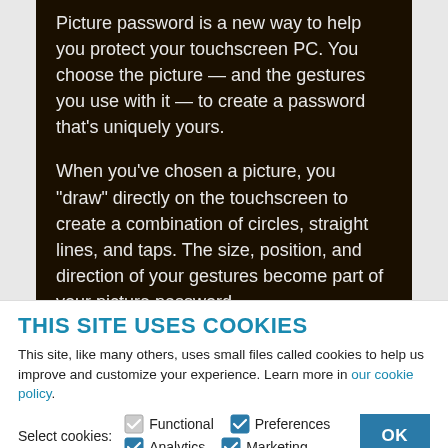[Figure (screenshot): Dark brown panel showing text about picture password on Windows touchscreen PC, partially cropped at top. Text reads: 'Picture password is a new way to help you protect your touchscreen PC. You choose the picture — and the gestures you use with it — to create a password that's uniquely yours. When you've chosen a picture, you "draw" directly on the touchscreen to create a combination of circles, straight lines, and taps. The size, position, and direction of your gestures become part of your picture password.']
THIS SITE USES COOKIES
This site, like many others, uses small files called cookies to help us improve and customize your experience. Learn more in our cookie policy.